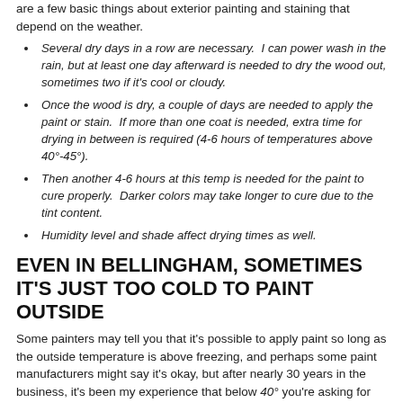are a few basic things about exterior painting and staining that depend on the weather.
Several dry days in a row are necessary. I can power wash in the rain, but at least one day afterward is needed to dry the wood out, sometimes two if it's cool or cloudy.
Once the wood is dry, a couple of days are needed to apply the paint or stain. If more than one coat is needed, extra time for drying in between is required (4-6 hours of temperatures above 40°-45°).
Then another 4-6 hours at this temp is needed for the paint to cure properly. Darker colors may take longer to cure due to the tint content.
Humidity level and shade affect drying times as well.
EVEN IN BELLINGHAM, SOMETIMES IT'S JUST TOO COLD TO PAINT OUTSIDE
Some painters may tell you that it's possible to apply paint so long as the outside temperature is above freezing, and perhaps some paint manufacturers might say it's okay, but after nearly 30 years in the business, it's been my experience that below 40° you're asking for trouble.